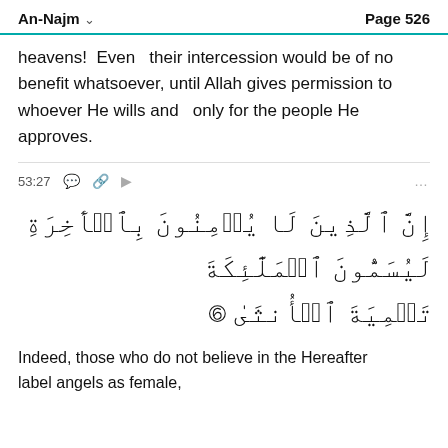An-Najm  Page 526
heavens!  Even  their intercession would be of no benefit whatsoever, until Allah gives permission to whoever He wills and  only for the people He approves.
53:27
[Figure (other): Arabic Quran verse 53:27 in large Arabic script]
Indeed, those who do not believe in the Hereafter label angels as female,